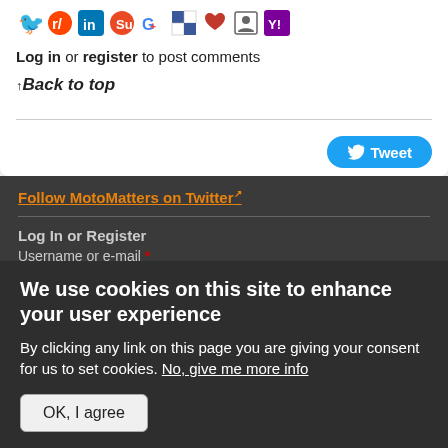[Figure (infographic): Row of social media sharing icons: Twitter, Reddit, LinkedIn, StumbleUpon, Google, Delicious, heart/favorites, user/contacts, Yahoo]
Log in or register to post comments
↑Back to top
[Figure (infographic): Tweet button with Twitter bird icon]
Follow MotoMatters on Twitter
Log In or Register
Username or e-mail *
We use cookies on this site to enhance your user experience
By clicking any link on this page you are giving your consent for us to set cookies. No, give me more info
OK, I agree